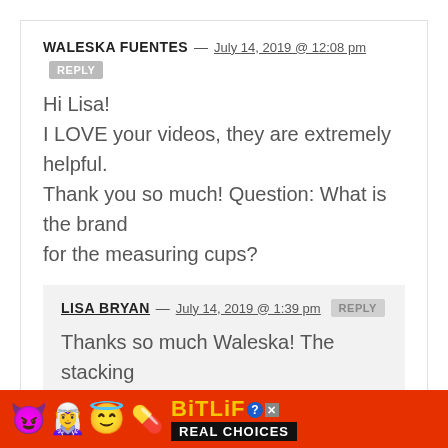WALESKA FUENTES — July 14, 2019 @ 12:08 pm  REPLY
Hi Lisa!
I LOVE your videos, they are extremely helpful. Thank you so much! Question: What is the brand for the measuring cups?
LISA BRYAN — July 14, 2019 @ 1:39 pm  REPLY
Thanks so much Waleska! The stacking metal ones are listed on the Shop page on my website. And the glass ones are Pyrex. :)
[Figure (infographic): BitLife advertisement banner with colorful emoji characters (devil, person, angel), BitLife logo in yellow on red background, 'REAL CHOICES' text in white on black background]